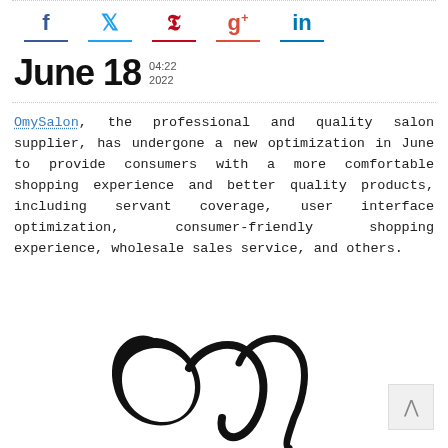[Figure (infographic): Social media share icons: Facebook (f), Twitter (bird/t), Pinterest (p), Google+ (g+), LinkedIn (in) each with a colored underline bar]
June 18   04:22 2022
OmySalon, the professional and quality salon supplier, has undergone a new optimization in June to provide consumers with a more comfortable shopping experience and better quality products, including servant coverage, user interface optimization, consumer-friendly shopping experience, wholesale sales service, and others.
[Figure (logo): Decorative cursive script logo letters partially visible at bottom of page]